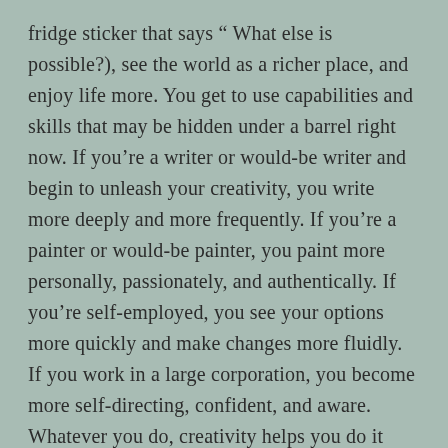fridge sticker that says “ What else is possible?), see the world as a richer place, and enjoy life more. You get to use capabilities and skills that may be hidden under a barrel right now. If you’re a writer or would-be writer and begin to unleash your creativity, you write more deeply and more frequently. If you’re a painter or would-be painter, you paint more personally, passionately, and authentically. If you’re self-employed, you see your options more quickly and make changes more fluidly. If you work in a large corporation, you become more self-directing, confident, and aware. Whatever you do, creativity helps you do it better, whatever the details of your life, you feel more alive. Creativity improves your work life and enriches your life in general.”